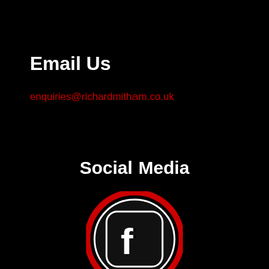Email Us
enquiries@richardmitham.co.uk
Social Media
[Figure (logo): Facebook logo icon inside a red circle ring on black background]